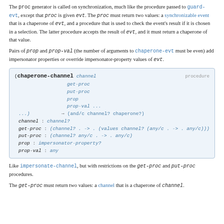The proc generator is called on synchronization, much like the procedure passed to guard-evt, except that proc is given evt. The proc must return two values: a synchronizable event that is a chaperone of evt, and a procedure that is used to check the event's result if it is chosen in a selection. The latter procedure accepts the result of evt, and it must return a chaperone of that value.
Pairs of prop and prop-val (the number of arguments to chaperone-evt must be even) add impersonator properties or override impersonator-property values of evt.
(chaperone-channel channel get-proc put-proc prop prop-val ... ...) → (and/c channel? chaperone?) channel : channel? get-proc : (channel? . -> . (values channel? (any/c . -> . any/c))) put-proc : (channel? any/c . -> . any/c) prop : impersonator-property? prop-val : any
Like impersonate-channel, but with restrictions on the get-proc and put-proc procedures.
The get-proc must return two values: a channel that is a chaperone of channel.